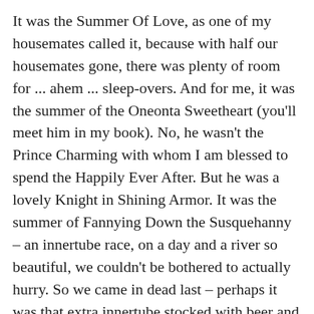It was the Summer Of Love, as one of my housemates called it, because with half our housemates gone, there was plenty of room for ... ahem ... sleep-overs. And for me, it was the summer of the Oneonta Sweetheart (you'll meet him in my book). No, he wasn't the Prince Charming with whom I am blessed to spend the Happily Ever After. But he was a lovely Knight in Shining Armor. It was the summer of Fannying Down the Susquehanny – an innertube race, on a day and a river so beautiful, we couldn't be bothered to actually hurry. So we came in dead last – perhaps it was that extra innertube stocked with beer and fried chicken that we dragged along. Or maybe it was all the laughing we did along the way.
It was the fleeting moment in time that I felt sure I could fix all the ills of the world – after all, I had